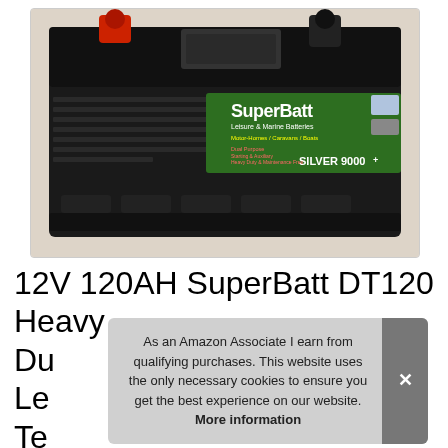[Figure (photo): Photo of a SuperBatt DT120 12V leisure and marine battery (Silver 9000+) with red and black terminals on top, sitting on a light-colored surface. Green label reads 'SuperBatt Leisure & Marine Batteries, Motor-Homes / Caravans / Boats, SILVER 9000+']
12V 120AH SuperBatt DT120 Heavy Du... Le... Te... Indicator Replace 105AH 110AH...
As an Amazon Associate I earn from qualifying purchases. This website uses the only necessary cookies to ensure you get the best experience on our website. More information